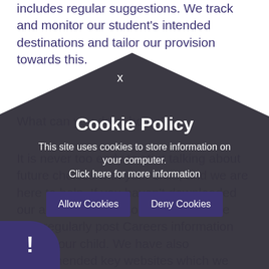includes regular suggestions. We track and monitor our student's intended destinations and tailor our provision towards this.
What can you do at home?
It is never too early to start talking about future choices with your child, and we are here to help. If you haven't downloaded our app, please do so ASAP. We have also regularly post Careers information about your child. We have also recommended key websites which we update regularly. You can also email us at washingtona@perry-careers.
[Figure (other): Cookie policy modal overlay with dark pentagon/house shaped background. Contains title 'Cookie Policy', text 'This site uses cookies to store information on your computer. Click here for more information', and two buttons: 'Allow Cookies' and 'Deny Cookies'. A close X button appears at top. A warning exclamation icon appears at bottom left.]